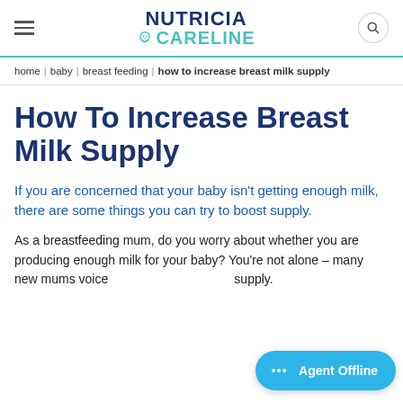NUTRICIA CARELINE
home | baby | breast feeding | how to increase breast milk supply
How To Increase Breast Milk Supply
If you are concerned that your baby isn't getting enough milk, there are some things you can try to boost supply.
As a breastfeeding mum, do you worry about whether you are producing enough milk for your baby? You're not alone – many new mums voice supply.